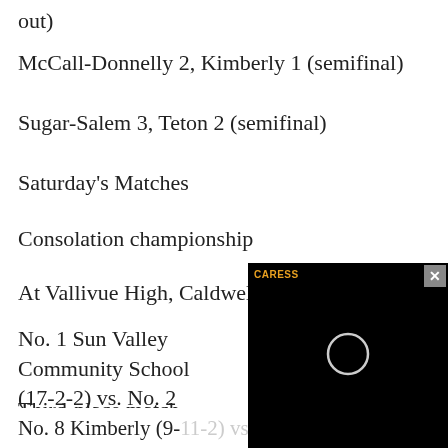out)
McCall-Donnelly 2, Kimberly 1 (semifinal)
Sugar-Salem 3, Teton 2 (semifinal)
Saturday's Matches
Consolation championship
At Vallivue High, Caldwell
No. 1 Sun Valley Community School (17-2-2) vs. No. 2 American Falls (15-3-3) f
Third-place match
At Vallivue High, C
No. 8 Kimberly (9-11-2) vs. No. 7 Teton (11-5-